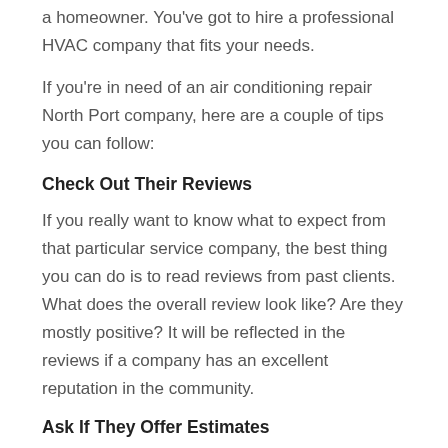a homeowner. You've got to hire a professional HVAC company that fits your needs.
If you're in need of an air conditioning repair North Port company, here are a couple of tips you can follow:
Check Out Their Reviews
If you really want to know what to expect from that particular service company, the best thing you can do is to read reviews from past clients. What does the overall review look like? Are they mostly positive? It will be reflected in the reviews if a company has an excellent reputation in the community.
Ask If They Offer Estimates
A reliable HVAC technician will be more than glad to